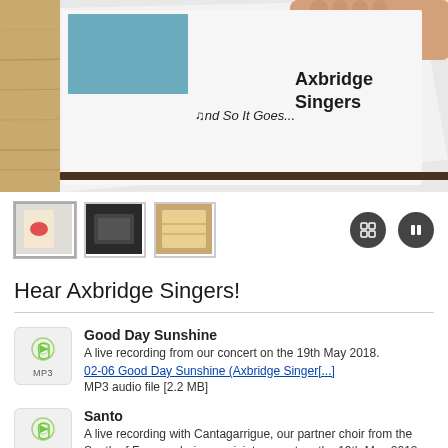[Figure (photo): Photo of an album or program booklet for Axbridge Singers titled 'And So It Goes...' lying on a wooden table, partially held by a hand. Bold text reads 'Axbridge Singers' on the right side of the booklet.]
[Figure (photo): Three thumbnail images of product/album photos and two control buttons (grid and pause icons) in a row below the main photo.]
Hear Axbridge Singers!
Good Day Sunshine
A live recording from our concert on the 19th May 2018.
02-06 Good Day Sunshine (Axbridge Singer[...]
MP3 audio file [2.2 MB]
Santo
A live recording with Cantagarrigue, our partner choir from the South of France, during our joint concert on the 19th May 2018.